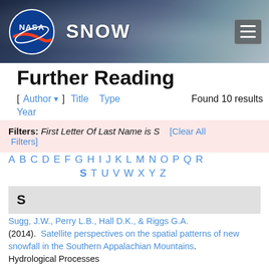[Figure (screenshot): NASA SNOW website header banner with NASA logo, SNOW title, and hamburger menu button over a snowy background image]
Further Reading
[ Author ▼ ]   Title   Type   Found 10 results
Year
Filters: First Letter Of Last Name is S   [Clear All Filters]
A B C D E F G H I J K L M N O P Q R
S T U V W X Y Z
S
Sugg, J.W., Perry L.B., Hall D.K., & Riggs G.A. (2014).  Satellite perspectives on the spatial patterns of new snowfall in the Southern Appalachian Mountains. Hydrological Processes